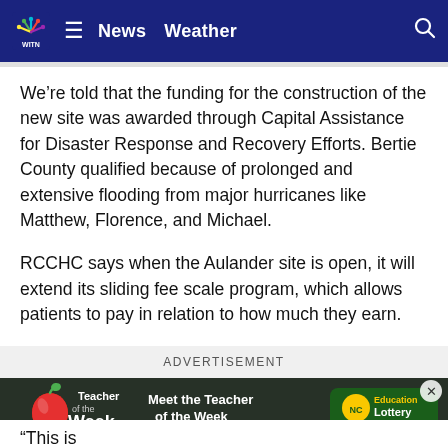WITN News | News  Weather
We’re told that the funding for the construction of the new site was awarded through Capital Assistance for Disaster Response and Recovery Efforts. Bertie County qualified because of prolonged and extensive flooding from major hurricanes like Matthew, Florence, and Michael.
RCCHC says when the Aulander site is open, it will extend its sliding fee scale program, which allows patients to pay in relation to how much they earn.
ADVERTISEMENT
[Figure (photo): Teacher of the Week advertisement banner featuring an apple graphic and NC Education Lottery logo. Text reads: Teacher of the Week | Meet the Teacher of the Week | Wednesdays - WITN News at Sunrise | NC Education Lottery]
“This is [partially visible text] not